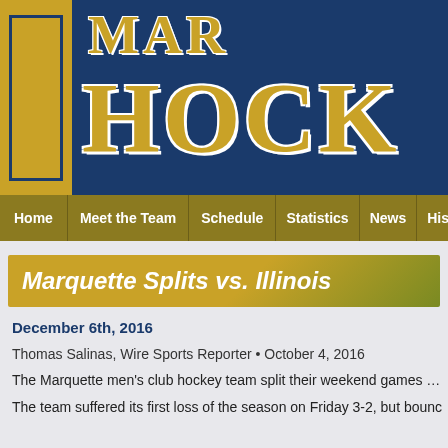[Figure (logo): Marquette Hockey website header banner with blue background, gold logo box on left, and large gold and white text reading MAR HOCKEY]
[Figure (screenshot): Navigation bar with gold background showing menu items: Home, Meet the Team, Schedule, Statistics, News, His...]
Marquette Splits vs. Illinois
December 6th, 2016
Thomas Salinas, Wire Sports Reporter • October 4, 2016
The Marquette men's club hockey team split their weekend games aga...
The team suffered its first loss of the season on Friday 3-2, but bounc...